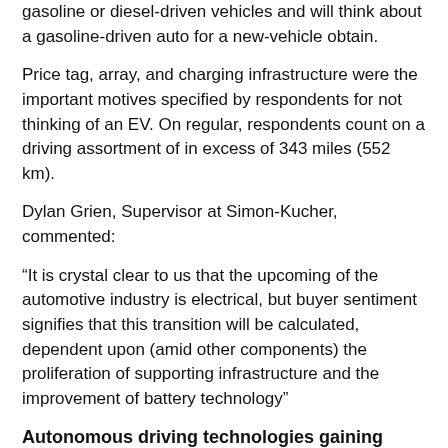gasoline or diesel-driven vehicles and will think about a gasoline-driven auto for a new-vehicle obtain.
Price tag, array, and charging infrastructure were the important motives specified by respondents for not thinking of an EV. On regular, respondents count on a driving assortment of in excess of 343 miles (552 km).
Dylan Grien, Supervisor at Simon-Kucher, commented:
“It is crystal clear to us that the upcoming of the automotive industry is electrical, but buyer sentiment signifies that this transition will be calculated, dependent upon (amid other components) the proliferation of supporting infrastructure and the improvement of battery technology”
Autonomous driving technologies gaining traction
Reactions to autonomous driving technological know-how continue to be mixed. Forty-5 p.c of respondents indicated exhilaration about the technologies.